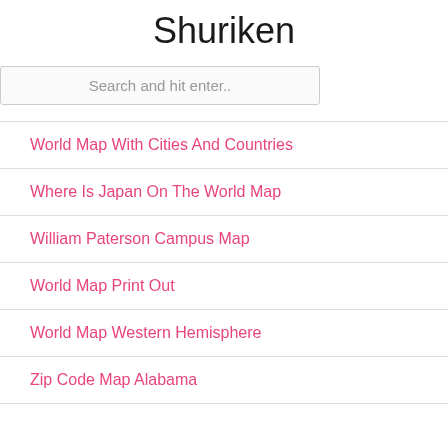Shuriken
Search and hit enter..
World Map With Cities And Countries
Where Is Japan On The World Map
William Paterson Campus Map
World Map Print Out
World Map Western Hemisphere
Zip Code Map Alabama
Dmca   Contact   Privacy Policy   Copyright